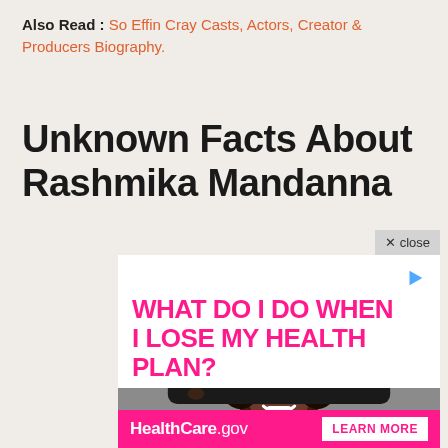Also Read : So Effin Cray Casts, Actors, Creator & Producers Biography.
Unknown Facts About Rashmika Mandanna
[Figure (infographic): Advertisement overlay with pink text on white background reading 'WHAT DO I DO WHEN I LOSE MY HEALTH PLAN?' with a photo of a smiling Black woman holding a skateboard wearing a yellow shirt, and a HealthCare.gov banner at the bottom with a 'LEARN MORE' button. A grey 'X close' button appears in the top right corner of the ad.]